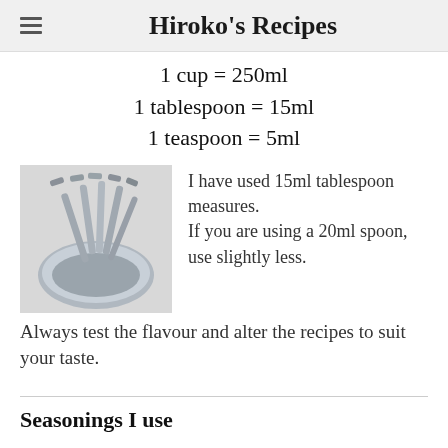Hiroko's Recipes
1 cup = 250ml
1 tablespoon = 15ml
1 teaspoon = 5ml
[Figure (photo): Stainless steel measuring spoons and cups nested together]
I have used 15ml tablespoon measures. If you are using a 20ml spoon, use slightly less.
Always test the flavour and alter the recipes to suit your taste.
Seasonings I use
Vinegar
Mirin
Cooking Sake
[Figure (photo): Bottle of vinegar (partial, bottom of image)]
[Figure (photo): Bottle of Mirin with red cap (partial, bottom of image)]
[Figure (photo): Bottle of Cooking Sake with green cap (partial, bottom of image)]